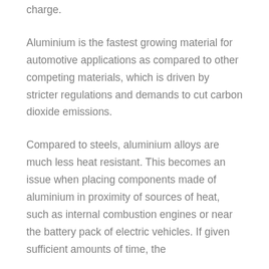charge.
Aluminium is the fastest growing material for automotive applications as compared to other competing materials, which is driven by stricter regulations and demands to cut carbon dioxide emissions.
Compared to steels, aluminium alloys are much less heat resistant. This becomes an issue when placing components made of aluminium in proximity of sources of heat, such as internal combustion engines or near the battery pack of electric vehicles. If given sufficient amounts of time, the